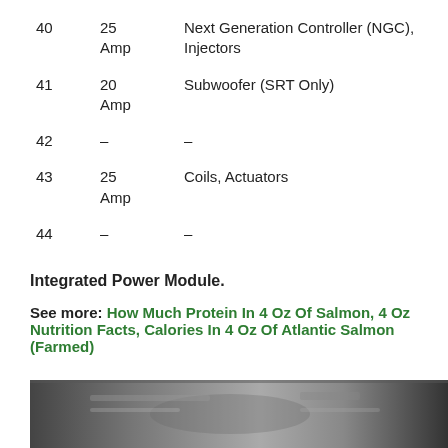| # | Rating | Description |
| --- | --- | --- |
| 40 | 25 Amp | Next Generation Controller (NGC), Injectors |
| 41 | 20 Amp | Subwoofer (SRT Only) |
| 42 | – | – |
| 43 | 25 Amp | Coils, Actuators |
| 44 | – | – |
Integrated Power Module.
See more: How Much Protein In 4 Oz Of Salmon, 4 Oz Nutrition Facts, Calories In 4 Oz Of Atlantic Salmon (Farmed)
[Figure (photo): Photo of a vehicle fuse/power module component, dark metallic tones]